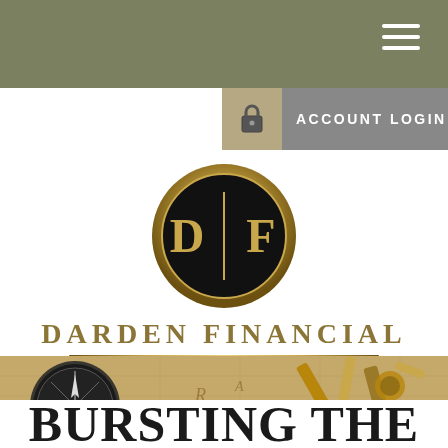[Figure (screenshot): Olive/khaki colored top navigation bar with hamburger menu icon (three white horizontal lines) in the top right corner]
[Figure (screenshot): Account login bar with lock icon on left side and 'ACCOUNT LOGIN' text in white on gray background]
[Figure (logo): Darden Financial circular logo with gold ring border, black circle interior, and gold D|F monogram letters with vertical divider line]
DARDEN FINANCIAL
[Figure (photo): Hero image showing vintage navigation and exploration tools including a compass, old map, and brass instruments on aged parchment background]
BURSTING THE